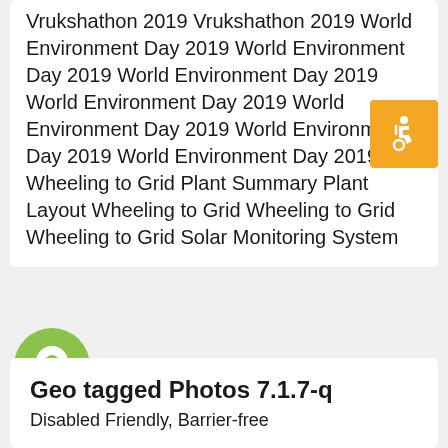Vrukshathon 2019 Vrukshathon 2019 World Environment Day 2019 World Environment Day 2019 World Environment Day 2019 World Environment Day 2019 World Environment Day 2019 World Environment Day 2019 World Environment Day 2019 Wheeling to Grid Plant Summary Plant Layout Wheeling to Grid Wheeling to Grid Wheeling to Grid Solar Monitoring System
[Figure (illustration): Orange square with white wheelchair accessibility icon]
[Figure (illustration): Green circle with white location pin/map marker icon]
Geo tagged Photos 7.1.7-q
Disabled Friendly, Barrier-free